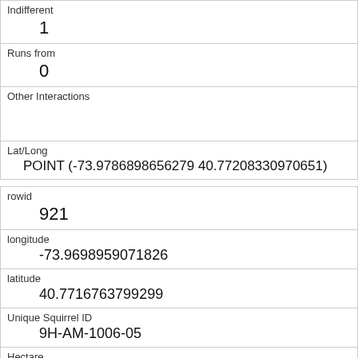| Indifferent | 1 |
| Runs from | 0 |
| Other Interactions |  |
| Lat/Long | POINT (-73.9786898656279 40.77208330970651) |
| rowid | 921 |
| longitude | -73.9698959071826 |
| latitude | 40.7716763799299 |
| Unique Squirrel ID | 9H-AM-1006-05 |
| Hectare | 09H |
| Shift | AM |